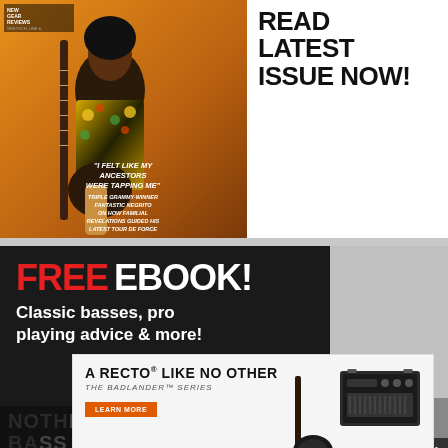[Figure (photo): Magazine cover showing a musician in a colorful floral jacket holding a guitar against an orange background, with text 'I FELT LIKE MY ANCESTORS WERE TAPPING ME' - Triple Grammy-winner Fantastic Negrito on how familial revelations guided his latest tour de force]
READ LATEST ISSUE NOW!
[Figure (infographic): FREE EBOOK! advertisement banner on dark background reading 'Classic basses, pro playing advice & more!']
[Figure (photo): Mesa/Boogie advertisement: 'A RECTO LIKE NO OTHER - THE BADLANDER SERIES' with an image of a guitar amplifier head and an electric guitar, LEARN MORE button, Mesa/Boogie logo]